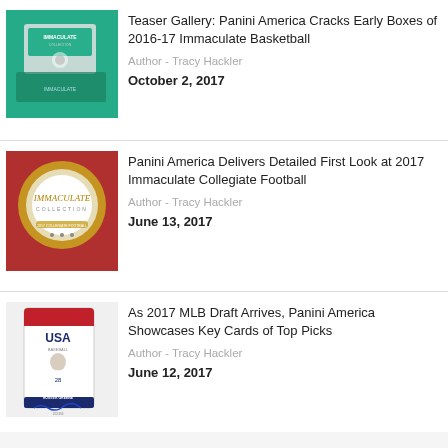[Figure (photo): Photo of Immaculate Basketball trading card box, green background with Immaculate Collection branding]
Teaser Gallery: Panini America Cracks Early Boxes of 2016-17 Immaculate Basketball
Author - Tracy Hackler
October 2, 2017
[Figure (photo): Photo of Immaculate Collection football card box, white and gold circular design on red background]
Panini America Delivers Detailed First Look at 2017 Immaculate Collegiate Football
Author - Tracy Hackler
June 13, 2017
[Figure (photo): Photo of Hunter Greene USA Baseball autographed trading card, player in white uniform]
As 2017 MLB Draft Arrives, Panini America Showcases Key Cards of Top Picks
Author - Tracy Hackler
June 12, 2017